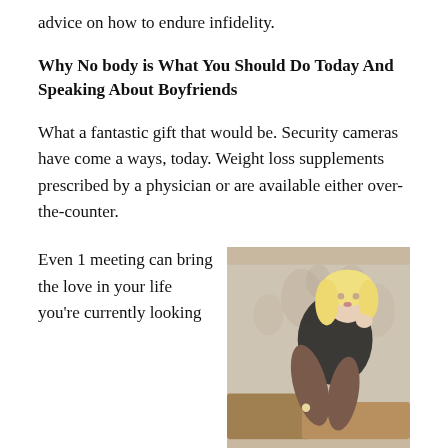advice on how to endure infidelity.
Why No body is What You Should Do Today And Speaking About Boyfriends
What a fantastic gift that would be. Security cameras have come a ways, today. Weight loss supplements prescribed by a physician or are available either over-the-counter.
Even 1 meeting can bring the love in your life you're currently looking
[Figure (photo): A blonde woman in a dark outfit seated on an ornate chair with floral wallpaper background]